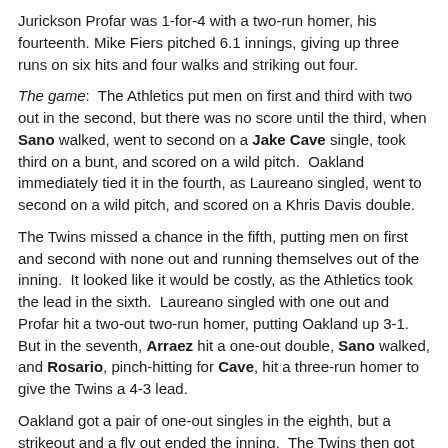Jurickson Profar was 1-for-4 with a two-run homer, his fourteenth. Mike Fiers pitched 6.1 innings, giving up three runs on six hits and four walks and striking out four.
The game: The Athletics put men on first and third with two out in the second, but there was no score until the third, when Sano walked, went to second on a Jake Cave single, took third on a bunt, and scored on a wild pitch. Oakland immediately tied it in the fourth, as Laureano singled, went to second on a wild pitch, and scored on a Khris Davis double.
The Twins missed a chance in the fifth, putting men on first and second with none out and running themselves out of the inning. It looked like it would be costly, as the Athletics took the lead in the sixth. Laureano singled with one out and Profar hit a two-out two-run homer, putting Oakland up 3-1. But in the seventh, Arraez hit a one-out double, Sano walked, and Rosario, pinch-hitting for Cave, hit a three-run homer to give the Twins a 4-3 lead.
Oakland got a pair of one-out singles in the eighth, but a strikeout and a fly out ended the inning. The Twins then got some insurance, as Garver and Cron each homered to make it 6-3. The Athletics went down in order in the ninth.